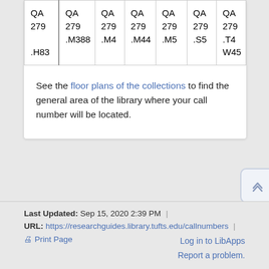| QA 279 .H83 | QA 279 .M388 | QA 279 .M4 | QA 279 .M44 | QA 279 .M5 | QA 279 .S5 | QA 279 .T4 W45 |
| --- | --- | --- | --- | --- | --- | --- |
| QA
279
.H83 | QA
279
.M388 | QA
279
.M4 | QA
279
.M44 | QA
279
.M5 | QA
279
.S5 | QA
279
.T4
W45 |
See the floor plans of the collections to find the general area of the library where your call number will be located.
Last Updated: Sep 15, 2020 2:39 PM | URL: https://researchguides.library.tufts.edu/callnumbers | Print Page Log in to LibApps Report a problem.